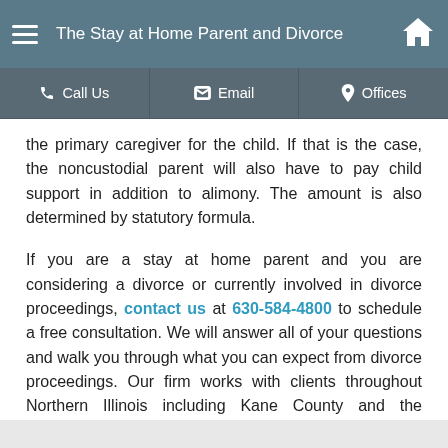The Stay at Home Parent and Divorce
the primary caregiver for the child. If that is the case, the noncustodial parent will also have to pay child support in addition to alimony. The amount is also determined by statutory formula.
If you are a stay at home parent and you are considering a divorce or currently involved in divorce proceedings, contact us at 630-584-4800 to schedule a free consultation. We will answer all of your questions and walk you through what you can expect from divorce proceedings. Our firm works with clients throughout Northern Illinois including Kane County and the surrounding areas.